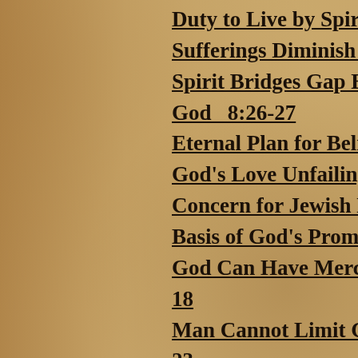Duty to Live by Spirit  8
Sufferings Diminish in L
Spirit Bridges Gap Betw
God  8:26-27
Eternal Plan for Believe
God's Love Unfailing  8
Concern for Jewish Heri
Basis of God's Promise
God Can Have Mercy on
18
Man Cannot Limit God's
23